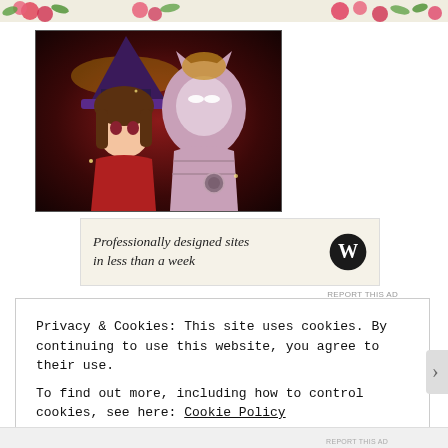[Figure (illustration): Floral decorative banner with pink roses and green leaves at the top of the page]
[Figure (illustration): Anime illustration showing two characters: a girl in a witch hat and red outfit, and a monster/demon character with a mask, on a dark red background]
[Figure (other): WordPress advertisement banner: 'Professionally designed sites in less than a week' with WordPress logo (W in circle)]
REPORT THIS AD
Privacy & Cookies: This site uses cookies. By continuing to use this website, you agree to their use.
To find out more, including how to control cookies, see here: Cookie Policy
Close and accept